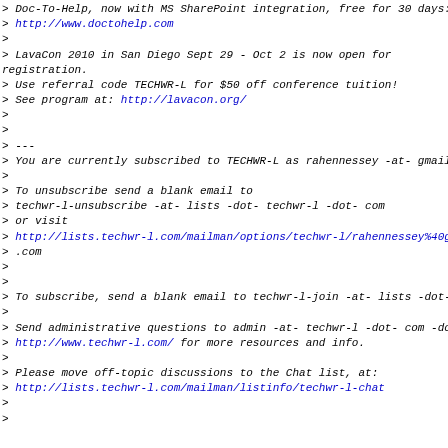> Doc-To-Help, now with MS SharePoint integration, free for 30 days:
> http://www.doctohelp.com
>
> LavaCon 2010 in San Diego Sept 29 - Oct 2 is now open for registration.
> Use referral code TECHWR-L for $50 off conference tuition!
> See program at: http://lavacon.org/
>
>
> ---
> You are currently subscribed to TECHWR-L as rahennessey -at- gmail -dot-
>
> To unsubscribe send a blank email to
> techwr-l-unsubscribe -at- lists -dot- techwr-l -dot- com
> or visit
> http://lists.techwr-l.com/mailman/options/techwr-l/rahennessey%40gmail
> .com
>
>
> To subscribe, send a blank email to techwr-l-join -at- lists -dot- techwr-l -dot-
>
> Send administrative questions to admin -at- techwr-l -dot- com -dot- Visit
> http://www.techwr-l.com/ for more resources and info.
>
> Please move off-topic discussions to the Chat list, at:
> http://lists.techwr-l.com/mailman/listinfo/techwr-l-chat
>
>